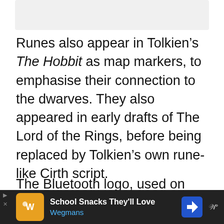Runes also appear in Tolkien’s The Hobbit as map markers, to emphasise their connection to the dwarves. They also appeared in early drafts of The Lord of the Rings, before being replaced by Tolkien’s own rune-like Cirth script.
The Bluetooth logo, used on millions of electronic devices worldwide, is a combination of the hagall and bjarkan
[Figure (other): Advertisement bar at the bottom: Wegmans School Snacks ad with orange icon, navigation arrow, and weather widget]